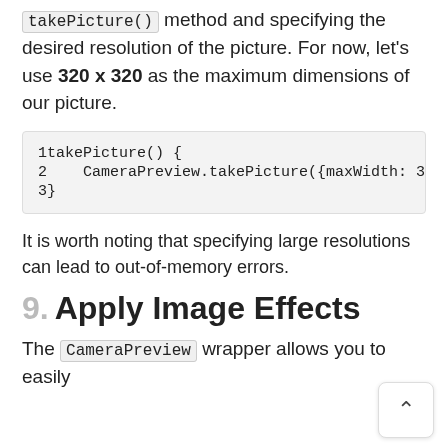takePicture() method and specifying the desired resolution of the picture. For now, let's use 320 x 320 as the maximum dimensions of our picture.
[Figure (screenshot): Code block showing takePicture() function with CameraPreview.takePicture({maxWidth: 320, line numbers 1-3]
It is worth noting that specifying large resolutions can lead to out-of-memory errors.
9. Apply Image Effects
The CameraPreview wrapper allows you to easily